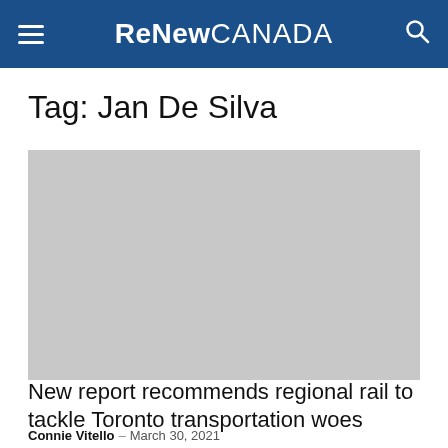ReNew CANADA
Tag: Jan De Silva
[Figure (photo): Gray image placeholder for article thumbnail]
transportation
New report recommends regional rail to tackle Toronto transportation woes
Connie Vitello – March 30, 2021
The City of Toronto's continued growth is expected to place